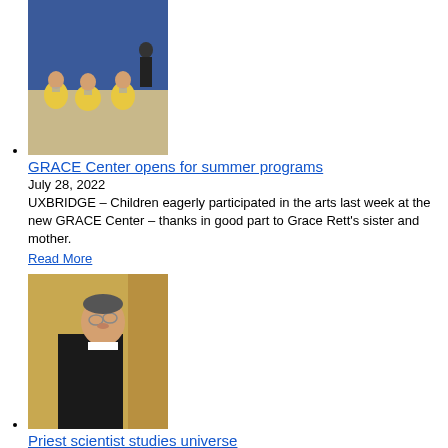GRACE Center opens for summer programs
July 28, 2022
UXBRIDGE – Children eagerly participated in the arts last week at the new GRACE Center – thanks in good part to Grace Rett's sister and mother.
Read More
Priest scientist studies universe
July 28, 2022
UXBRIDGE – Vatican astronomer, Jesuit Father David A. Brown, shared some information about his field – and why